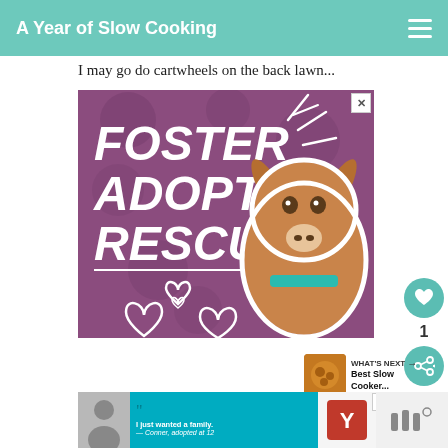A Year of Slow Cooking
I may go do cartwheels on the back lawn...
[Figure (illustration): Advertisement banner: purple/mauve background with white bold text reading FOSTER ADOPT RESCUE, decorative hearts, and a photo of a brown pitbull dog with a teal collar. Burst lines in upper right.]
[Figure (photo): Thumbnail image of food (likely cookies or slow cooker dish) for 'What's Next - Best Slow Cooker...' section]
WHAT'S NEXT →
Best Slow Cooker...
[Figure (illustration): Bottom advertisement: Dave Thomas Foundation for Adoption ad with a teenage boy photo, quote text 'I just wanted a family. — Conner, adopted at 12']